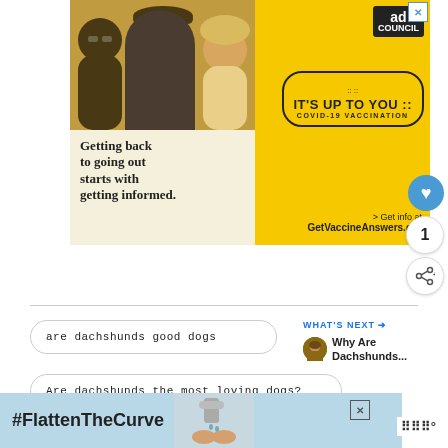[Figure (infographic): Ad Council COVID-19 vaccination advertisement. Yellow and photo background. Text: 'Getting back to going out starts with getting informed.' Badge: 'IT'S UP TO YOU COVID-19 VACCINATION'. URL: GetVaccineAnswers.org]
are dachshunds good dogs
WHAT'S NEXT → Why Are Dachshunds...
Are dachshunds the most loving dogs?
[Figure (infographic): Bottom advertisement banner: #FlattenTheCurve with handwashing image and Wix logo]